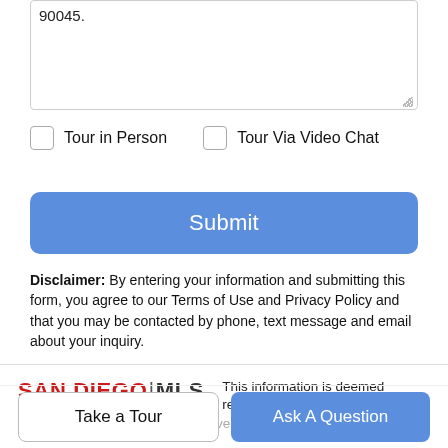90045.
Tour in Person
Tour Via Video Chat
Submit
Disclaimer: By entering your information and submitting this form, you agree to our Terms of Use and Privacy Policy and that you may be contacted by phone, text message and email about your inquiry.
[Figure (logo): SAN DIEGO | MLS logo in red and dark text]
This information is deemed reliable but not guaranteed. You should rely on this information to verify the information.
Take a Tour
Ask A Question